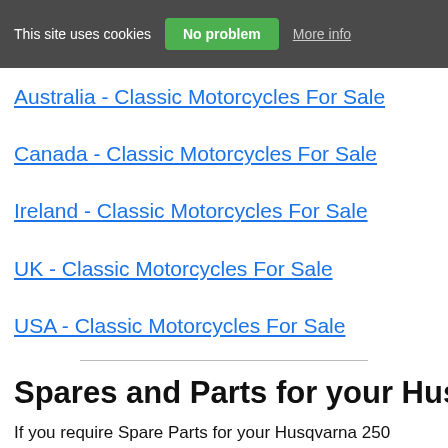This site uses cookies  No problem  More info
Australia - Classic Motorcycles For Sale
Canada - Classic Motorcycles For Sale
Ireland - Classic Motorcycles For Sale
UK - Classic Motorcycles For Sale
USA - Classic Motorcycles For Sale
Spares and Parts for your Husqvarna 25...
If you require Spare Parts for your Husqvarna 250 Cross – 1... suppliers listings at Husqvarna 250 Cross – 1969 Spares and...